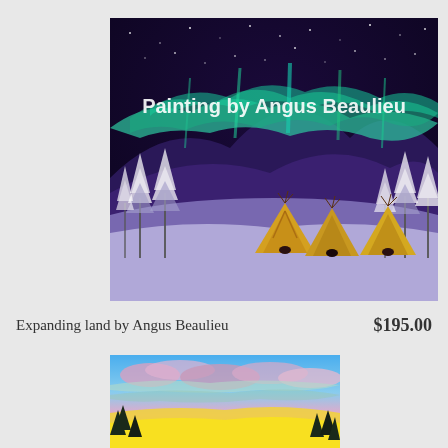[Figure (photo): Painting by Angus Beaulieu showing northern lights (aurora borealis) in purple/blue night sky with three teepees and snow-covered trees in winter landscape. Text overlay reads 'Painting by Angus Beaulieu'.]
Expanding land by Angus Beaulieu
$195.00
[Figure (photo): Partially visible painting showing a colorful sunset sky with blue, pink, and yellow clouds over a landscape with dark trees at the bottom.]